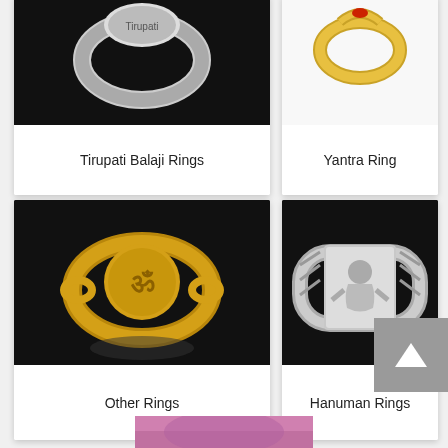[Figure (photo): Tirupati Balaji silver ring on black background, cropped at top]
Tirupati Balaji Rings
[Figure (photo): Gold Yantra ring on white background, cropped at top]
Yantra Ring
[Figure (photo): Gold ring with Om/Shri symbol on black background]
Other Rings
[Figure (photo): Silver Hanuman ring with archer design on black background]
Hanuman Rings
[Figure (photo): Partially visible purple/pink image at bottom of page]